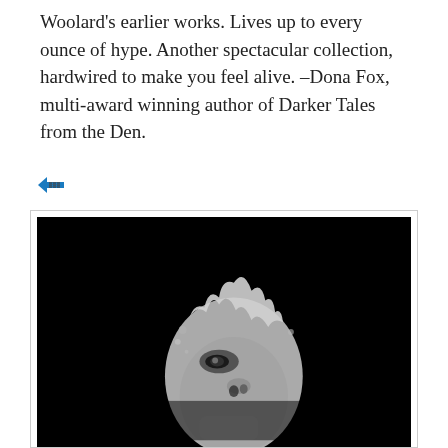Woolard's earlier works. Lives up to every ounce of hype. Another spectacular collection, hardwired to make you feel alive. –Dona Fox, multi-award winning author of Darker Tales from the Den.
[Figure (photo): Book cover for T.S. Woolard — dark background with the author name in light gray text at top, and a dramatic black and white image of a face (person looking upward, partially obscured as if submerged or melting) in the lower portion.]